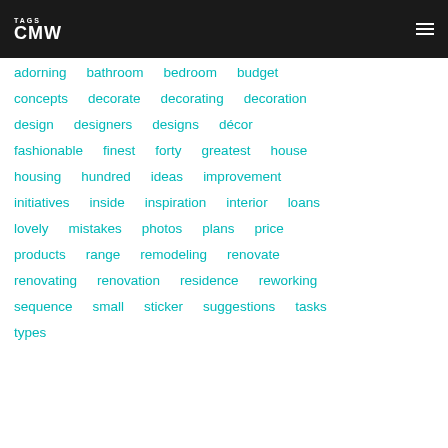TAGS CMW
adorning  bathroom  bedroom  budget
concepts  decorate  decorating  decoration
design  designers  designs  décor
fashionable  finest  forty  greatest  house
housing  hundred  ideas  improvement
initiatives  inside  inspiration  interior  loans
lovely  mistakes  photos  plans  price
products  range  remodeling  renovate
renovating  renovation  residence  reworking
sequence  small  sticker  suggestions  tasks
types